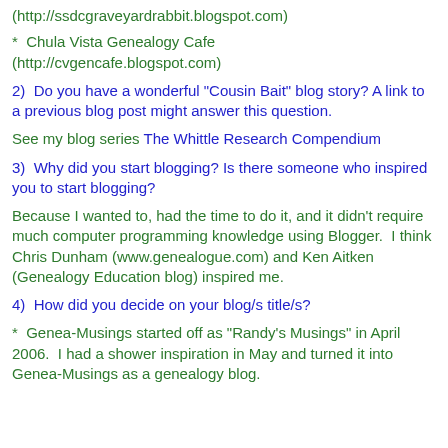(http://ssdcgraveyardrabbit.blogspot.com)
*  Chula Vista Genealogy Cafe (http://cvgencafe.blogspot.com)
2)  Do you have a wonderful "Cousin Bait" blog story? A link to a previous blog post might answer this question.
See my blog series The Whittle Research Compendium
3)  Why did you start blogging? Is there someone who inspired you to start blogging?
Because I wanted to, had the time to do it, and it didn't require much computer programming knowledge using Blogger.  I think Chris Dunham (www.genealogue.com) and Ken Aitken (Genealogy Education blog) inspired me.
4)  How did you decide on your blog/s title/s?
*  Genea-Musings started off as "Randy's Musings" in April 2006.  I had a shower inspiration in May and turned it into Genea-Musings as a genealogy blog.